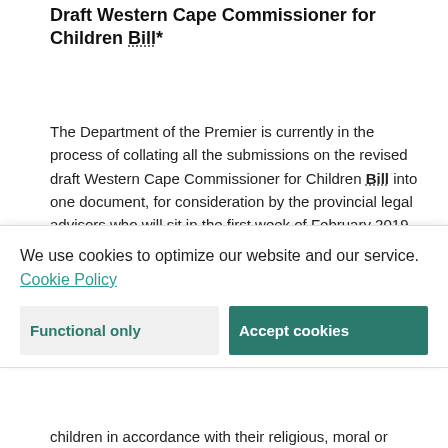Draft Western Cape Commissioner for Children Bill*
The Department of the Premier is currently in the process of collating all the submissions on the revised draft Western Cape Commissioner for Children Bill into one document, for consideration by the provincial legal advisors who will sit in the first week of February 2019. The Bill seeks to
We use cookies to optimize our website and our service. Cookie Policy
Functional only | Accept cookies
children in accordance with their religious, moral or